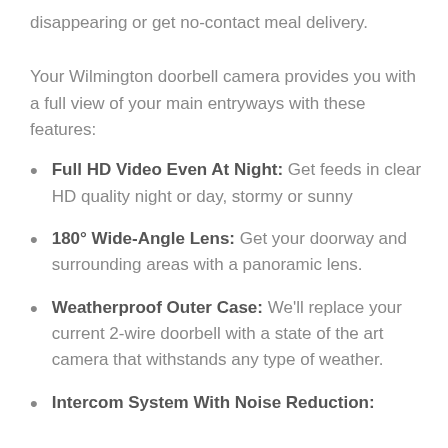disappearing or get no-contact meal delivery.
Your Wilmington doorbell camera provides you with a full view of your main entryways with these features:
Full HD Video Even At Night: Get feeds in clear HD quality night or day, stormy or sunny
180° Wide-Angle Lens: Get your doorway and surrounding areas with a panoramic lens.
Weatherproof Outer Case: We'll replace your current 2-wire doorbell with a state of the art camera that withstands any type of weather.
Intercom System With Noise Reduction: